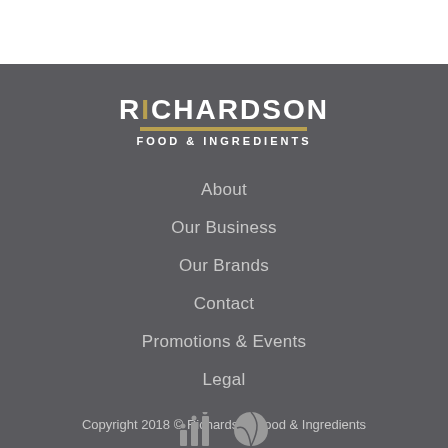[Figure (logo): Richardson Food & Ingredients logo with gold bar and white text on dark background]
About
Our Business
Our Brands
Contact
Promotions & Events
Legal
Copyright 2018 © Richardson Food & Ingredients
[Figure (illustration): Two small icons: a bar chart icon and a leaf/chat icon in grey]